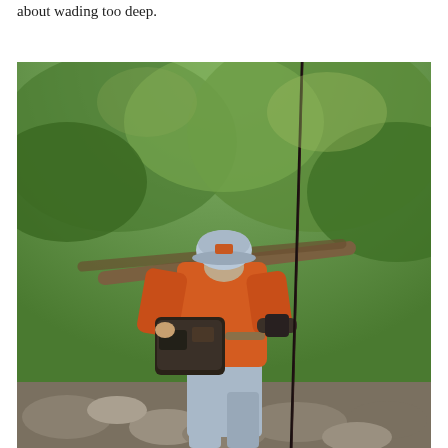about wading too deep.
[Figure (photo): A person wearing an orange long-sleeve shirt, light blue cap, face covering, and light blue pants stands outdoors holding a fishing rod. They carry a dark fishing bag/pack at their waist. The background shows green lush trees and rocky terrain in bright daylight.]